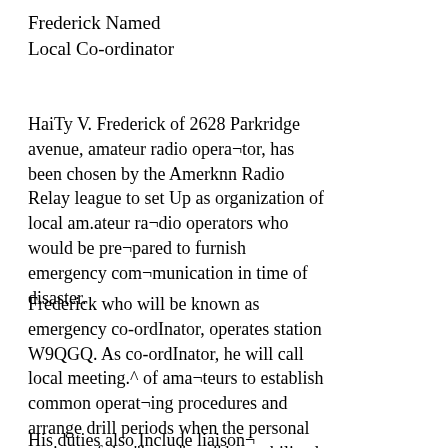Frederick Named Local Co-ordinator
HaiTy V. Frederick of 2628 Parkridge avenue, amateur radio operator, has been chosen by the Amerknn Radio Relay league to set Up as organization of local am.ateur radio operators who would be prepared to furnish emergency communication in time of disaster.
Frederick who will be known as emergency co-ordInator, operates station W9QGQ. As co-ordInator, he will call local meeting.^ of amateurs to establish common operating procedures and arrange drill periods when the personal stations of the "hams" maj' be mobilized under simulated emergency conditions.
His duties also Include liaison—